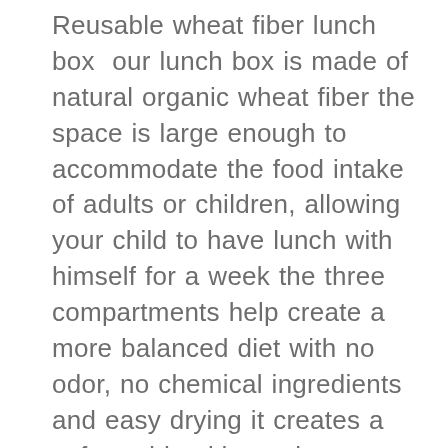Reusable wheat fiber lunch box  our lunch box is made of natural organic wheat fiber the space is large enough to accommodate the food intake of adults or children, allowing your child to have lunch with himself for a week the three compartments help create a more balanced diet with no odor, no chemical ingredients and easy drying it creates a safe and healthy eating environment for you and your family.   Keep food fresh  the compartment design can effectively prevent food from mixing together, separating vegetables, fruits and snacks to maintain the original taste of the food on busy working days, you don't have to eat cold food from plastic bags, you can make your child more appetizing at lunch.  Leak-proof technology  excellent air tightness, leak-proof, drop-proof, no need to worry about overflow, leak-proof compartment design, effective prevention of odor, keeping meals and snacks fresh